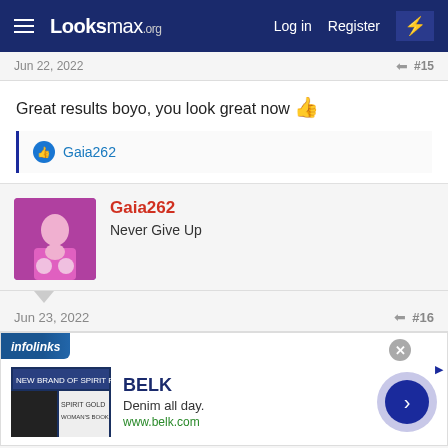Looksmax.org — Log in | Register
Jun 22, 2022  #15
Great results boyo, you look great now 👍
👍 Gaia262
Gaia262
Never Give Up
Jun 23, 2022  #16
[Figure (screenshot): Infolinks advertisement for BELK: 'Denim all day. www.belk.com' with a navigation arrow button]